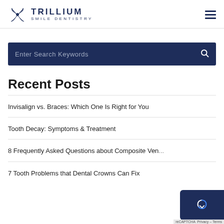[Figure (logo): Trillium Smile Dentistry logo with flower icon and text]
Enter Search Keywords
Recent Posts
Invisalign vs. Braces: Which One Is Right for You
Tooth Decay: Symptoms & Treatment
8 Frequently Asked Questions about Composite Veneers
7 Tooth Problems that Dental Crowns Can Fix